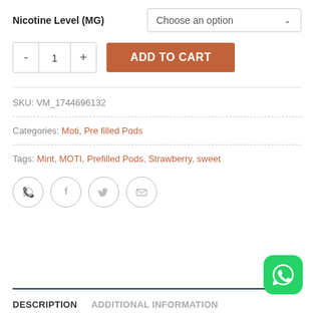Nicotine Level (MG)
Choose an option
- 1 +
ADD TO CART
SKU: VM_1744696132
Categories: Moti, Pre filled Pods
Tags: Mint, MOTI, Prefilled Pods, Strawberry, sweet
[Figure (other): Social sharing icons: WhatsApp, Facebook, Twitter, Email]
DESCRIPTION
ADDITIONAL INFORMATION
[Figure (other): WhatsApp floating action button (green, bottom right)]